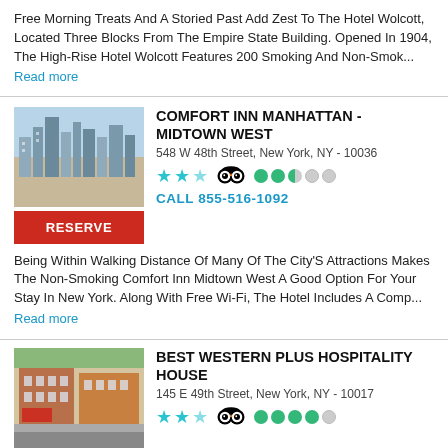Free Morning Treats And A Storied Past Add Zest To The Hotel Wolcott, Located Three Blocks From The Empire State Building. Opened In 1904, The High-Rise Hotel Wolcott Features 200 Smoking And Non-Smok...
Read more
COMFORT INN MANHATTAN - MIDTOWN WEST
548 W 48th Street, New York, NY - 10036
[Figure (photo): Aerial city view of Manhattan skyline with buildings]
RESERVE
CALL 855-516-1092
Being Within Walking Distance Of Many Of The City'S Attractions Makes The Non-Smoking Comfort Inn Midtown West A Good Option For Your Stay In New York. Along With Free Wi-Fi, The Hotel Includes A Comp...
Read more
BEST WESTERN PLUS HOSPITALITY HOUSE
145 E 49th Street, New York, NY - 10017
[Figure (photo): Street view of Best Western Plus Hospitality House building]